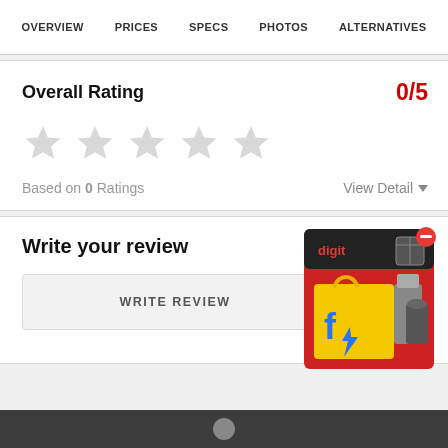OVERVIEW   PRICES   SPECS   PHOTOS   ALTERNATIVES
Overall Rating
0/5
Based on 0 Ratings
View Detail ▼
Write your review
WRITE REVIEW
[Figure (other): Advertisement image showing Flipkart and Digit product box with appliances]